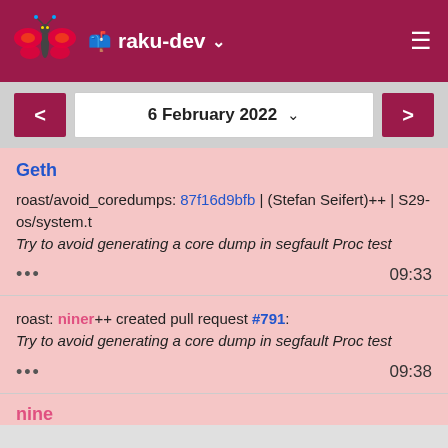raku-dev
6 February 2022
Geth

roast/avoid_coredumps: 87f16d9bfb | (Stefan Seifert)++ | S29-os/system.t
Try to avoid generating a core dump in segfault Proc test

... 09:33
roast: niner++ created pull request #791:
Try to avoid generating a core dump in segfault Proc test

... 09:38
nine